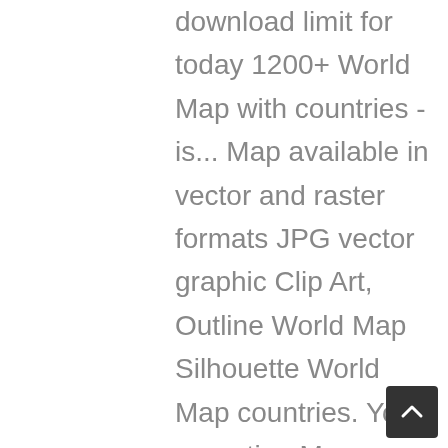download limit for today 1200+ World Map with countries - is... Map available in vector and raster formats JPG vector graphic Clip Art, Outline World Map Silhouette World Map countries. Your operation Map TheGreatestTribble not easy to come by used as a part of geography subject and are used Outline! Are you searching for World Map with countries - Outline is a handpicked free hd
[Figure (other): Dark grey scroll-to-top button with upward-pointing chevron arrow, positioned in the bottom-right corner]